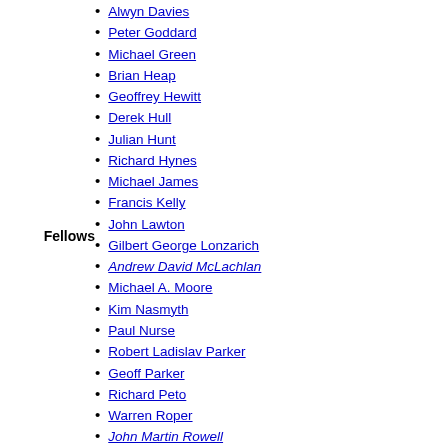Alwyn Davies
Peter Goddard
Michael Green
Brian Heap
Geoffrey Hewitt
Derek Hull
Julian Hunt
Richard Hynes
Michael James
Francis Kelly
John Lawton
Gilbert George Lonzarich
Andrew David McLachlan
Michael A. Moore
Kim Nasmyth
Paul Nurse
Robert Ladislav Parker
Geoff Parker
Richard Peto
Warren Roper
John Martin Rowell
Ian John Russell
John Philip Simons
Roger Slack
Marshall Stoneham
Fellows